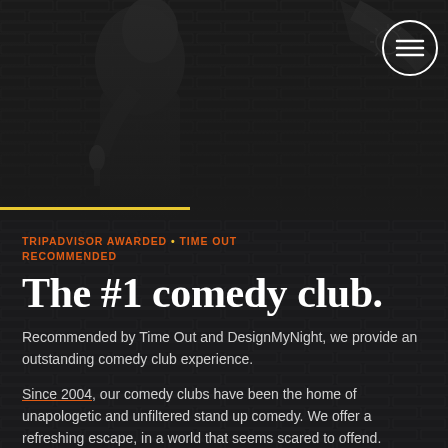[Figure (photo): Grayscale photo of a comedian/performer holding a microphone on stage, dark background. A hamburger menu icon in a white circle is visible in the top-right corner. A gold/yellow horizontal accent line appears at the bottom of the photo area.]
TRIPADVISOR AWARDED • TIME OUT RECOMMENDED
The #1 comedy club.
Recommended by Time Out and DesignMyNight, we provide an outstanding comedy club experience.
Since 2004, our comedy clubs have been the home of unapologetic and unfiltered stand up comedy. We offer a refreshing escape, in a world that seems scared to offend.
Renowned as a brilliant night out, our comedians are